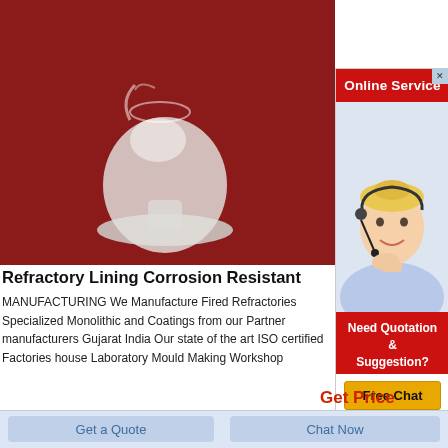[Figure (photo): Photo of white refractory powder in a glass flask/container on a red background]
[Figure (photo): Online service popup showing a woman with headset and 'Online Service' header, 'Need Quotation & Suggestion?' section with 'Free Chat' button]
Refractory Lining Corrosion Resistant
MANUFACTURING We Manufacture Fired Refractories Specialized Monolithic and Coatings from our Partner manufacturers Gujarat India Our state of the art ISO certified Factories house Laboratory Mould Making Workshop
Get Price
Get a Quote
Chat Now